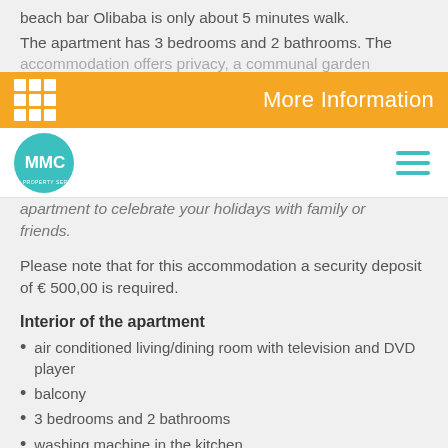beach bar Olibaba is only about 5 minutes walk.
The apartment has 3 bedrooms and 2 bathrooms. The accommodation offers privacy, a communal garden
More Information
[Figure (logo): MMC Property Services logo - teal circular logo with stylized figures and text]
apartment to celebrate your holidays with family or friends.
Please note that for this accommodation a security deposit of € 500,00 is required.
Interior of the apartment
air conditioned living/dining room with television and DVD player
balcony
3 bedrooms and 2 bathrooms
washing machine in the kitchen